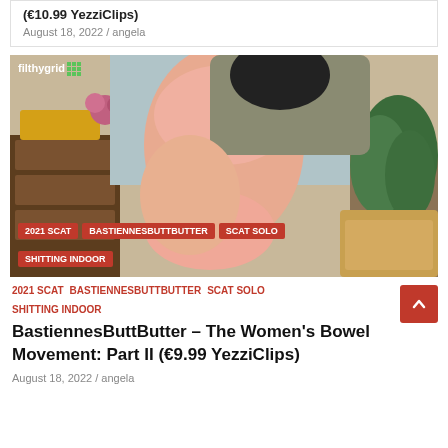(€10.99 YezziClips)
August 18, 2022 / angela
[Figure (photo): Woman posing indoors with tags overlay showing 2021 SCAT, BASTIENNESBUTTBUTTER, SCAT SOLO, SHITTING INDOOR and watermark filthygrid with number e2487]
2021 SCAT
BASTIENNESBUTTBUTTER
SCAT SOLO
SHITTING INDOOR
BastiennesButtButter – The Women's Bowel Movement: Part II (€9.99 YezziClips)
August 18, 2022 / angela